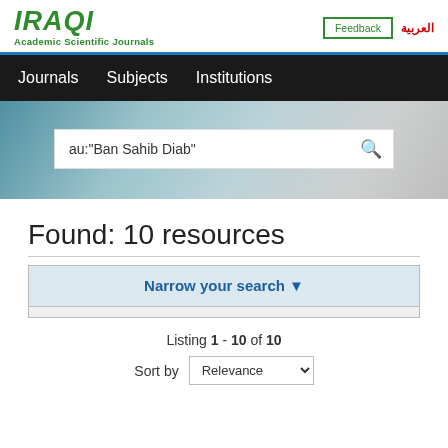IRAQI Academic Scientific Journals | Feedback | العربية
Journals  Subjects  Institutions
au:"Ban Sahib Diab"
Found: 10 resources
Narrow your search
Listing 1 - 10 of 10
Sort by Relevance